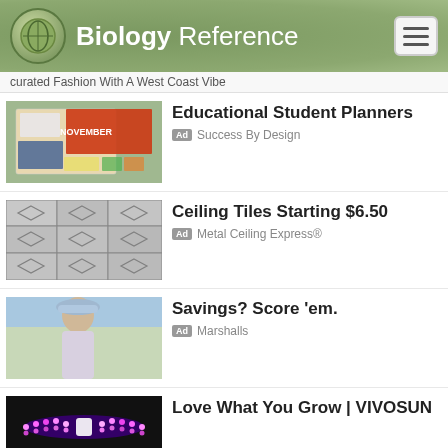Biology Reference
curated Fashion With A West Coast Vibe
[Figure (photo): Educational student planners with November calendar and colorful sticker decorations]
Educational Student Planners
Ad  Success By Design
[Figure (photo): Metallic ceiling tiles with diamond pattern]
Ceiling Tiles Starting $6.50
Ad  Metal Ceiling Express®
[Figure (photo): Young woman wearing a bucket hat outdoors on tennis court]
Savings? Score 'em.
Ad  Marshalls
[Figure (photo): VIVOSUN grow light with LED strips arranged in wing pattern]
Love What You Grow | VIVOSUN